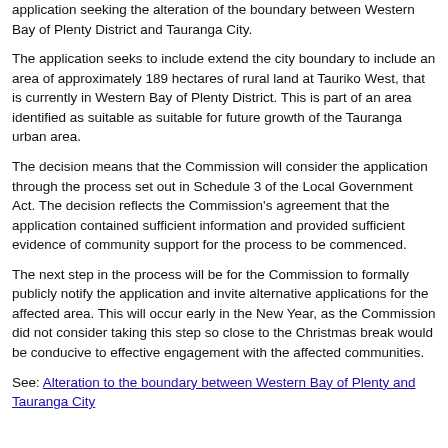application seeking the alteration of the boundary between Western Bay of Plenty District and Tauranga City.
The application seeks to include extend the city boundary to include an area of approximately 189 hectares of rural land at Tauriko West, that is currently in Western Bay of Plenty District. This is part of an area identified as suitable as suitable for future growth of the Tauranga urban area.
The decision means that the Commission will consider the application through the process set out in Schedule 3 of the Local Government Act. The decision reflects the Commission's agreement that the application contained sufficient information and provided sufficient evidence of community support for the process to be commenced.
The next step in the process will be for the Commission to formally publicly notify the application and invite alternative applications for the affected area. This will occur early in the New Year, as the Commission did not consider taking this step so close to the Christmas break would be conducive to effective engagement with the affected communities.
See: Alteration to the boundary between Western Bay of Plenty and Tauranga City